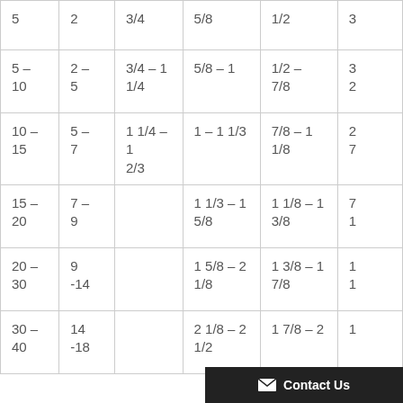| 5 | 2 | 3/4 | 5/8 | 1/2 | 3 |
| 5 – 10 | 2 – 5 | 3/4 – 1 1/4 | 5/8 – 1 | 1/2 – 7/8 | 3
2 |
| 10 – 15 | 5 – 7 | 1 1/4 – 1 2/3 | 1 – 1 1/3 | 7/8 – 1 1/8 | 2
7 |
| 15 – 20 | 7 – 9 |  | 1 1/3 – 1 5/8 | 1 1/8 – 1 3/8 | 7
1 |
| 20 – 30 | 9 -14 |  | 1 5/8 – 2 1/8 | 1 3/8 – 1 7/8 | 1
1 |
| 30 – 40 | 14 -18 |  | 2 1/8 – 2 1/2 | 1 7/8 – 2 | 1 |